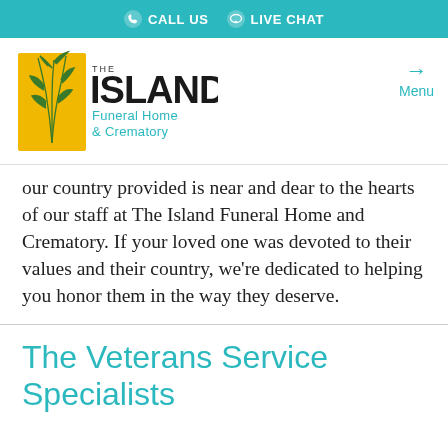CALL US   LIVE CHAT
[Figure (logo): The Island Funeral Home & Crematory logo with yellow rectangle, green plant illustration, and text]
our country provided is near and dear to the hearts of our staff at The Island Funeral Home and Crematory. If your loved one was devoted to their values and their country, we’re dedicated to helping you honor them in the way they deserve.
The Veterans Service Specialists